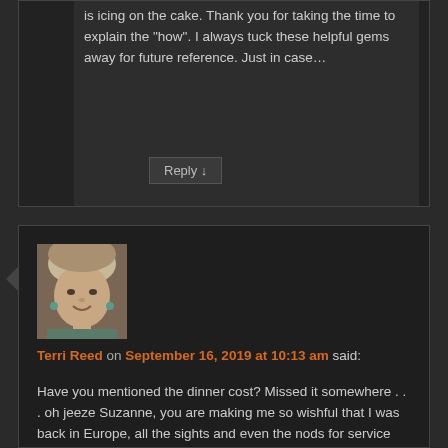is icing on the cake. Thank you for taking the time to explain the "how". I always tuck these helpful gems away for future reference. Just in case…
Reply ↓
[Figure (photo): Avatar photo of Terri Reed, a woman with short light hair, smiling]
Terri Reed on September 16, 2019 at 10:13 am said:
Have you mentioned the dinner cost? Missed it somewhere . . . oh jeeze Suzanne, you are making me so wishful that I was back in Europe, all the sights and even the nods for service when waiters/waitresses know exactly what/when you